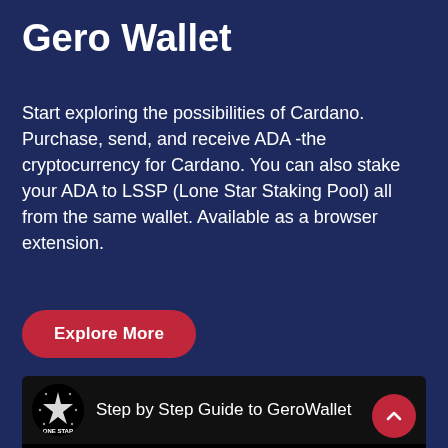Gero Wallet
Start exploring the possibilities of Cardano. Purchase, send, and receive ADA -the cryptocurrency for Cardano. You can also stake your ADA to LSSP (Lone Star Staking Pool) all from the same wallet. Available as a browser extension.
Explore More
[Figure (screenshot): Video thumbnail with channel logo (ONE STAR) and title 'Step by Step Guide to GeroWallet' with three-dot menu icon on black background]